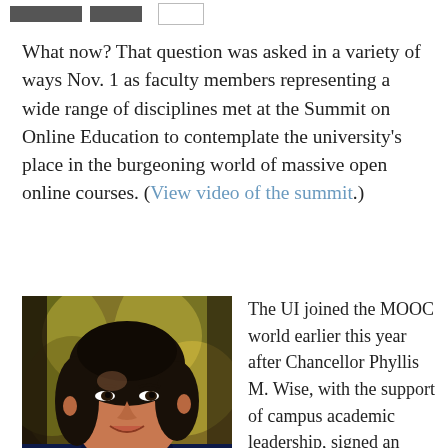[navigation bar with logo elements]
What now? That question was asked in a variety of ways Nov. 1 as faculty members representing a wide range of disciplines met at the Summit on Online Education to contemplate the university's place in the burgeoning world of massive open online courses. (View video of the summit.)
[Figure (photo): Portrait photo of Phyllis M. Wise, a woman with short dark hair wearing a dark blue jacket and orange scarf, photographed outdoors with autumn foliage in the background.]
Phyllis M. Wise
Photo by L. Brian Stauffer
The UI joined the MOOC world earlier this year after Chancellor Phyllis M. Wise, with the support of campus academic leadership, signed an agreement to offer 10 free, UI-certified classes on the Coursera online platform.
Coursera has made national